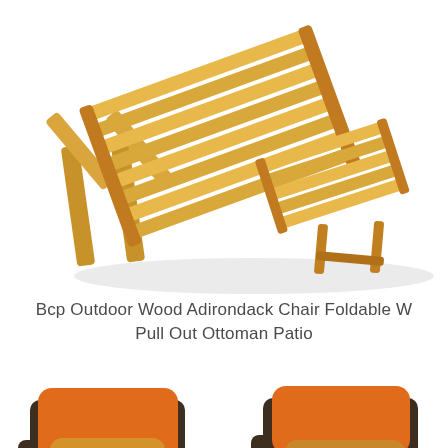[Figure (photo): Wooden Adirondack folding chair with pull-out ottoman, shown in natural light wood color against white background, viewed from the side at an angle]
Bcp Outdoor Wood Adirondack Chair Foldable W Pull Out Ottoman Patio
[Figure (photo): Two dark wicker/rattan patio chairs with orange and tan throw pillows and a small black coffee table between them, viewed from a slightly elevated angle against white background]